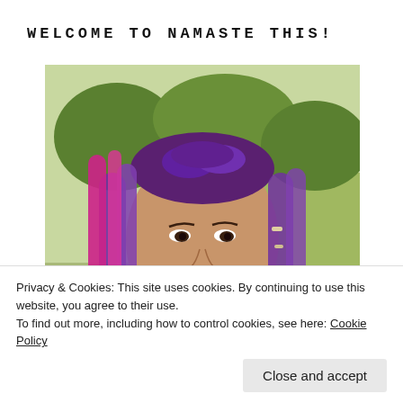WELCOME TO NAMASTE THIS!
[Figure (photo): Woman with purple and pink dreadlocks and braids, smiling outdoors with green trees and grass in the background.]
Privacy & Cookies: This site uses cookies. By continuing to use this website, you agree to their use.
To find out more, including how to control cookies, see here: Cookie Policy
Close and accept